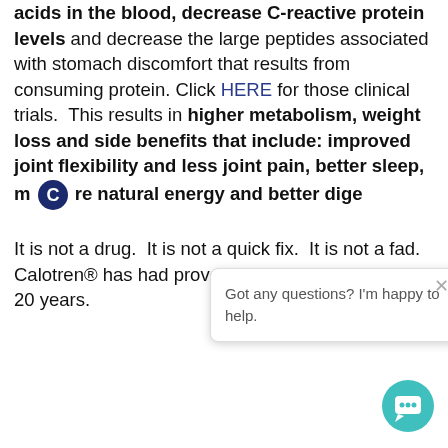acids in the blood, decrease C-reactive protein levels and decrease the large peptides associated with stomach discomfort that results from consuming protein. Click HERE for those clinical trials.  This results in higher metabolism, weight loss and side benefits that include: improved joint flexibility and less joint pain, better sleep, more natural energy and better dige[stion.]
It is not a drug. [It] is not a quick fix.  It is not a fad.  Calotren® has had proven lasting results for over 20 years.